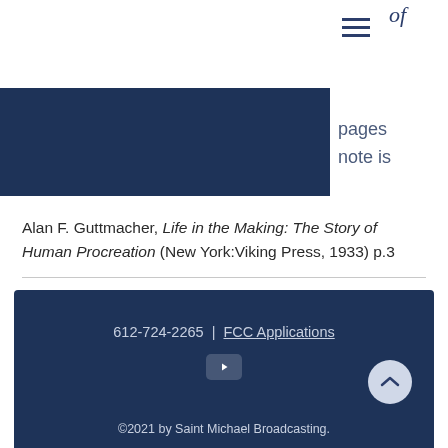of
pages
note is
Alan F. Guttmacher, Life in the Making: The Story of Human Procreation (New York:Viking Press, 1933) p.3
2. "A New Ethic for Medicine and Society," CALIFORNIA MEDICINE, September, 1970.
612-724-2265 | FCC Applications
©2021 by Saint Michael Broadcasting.